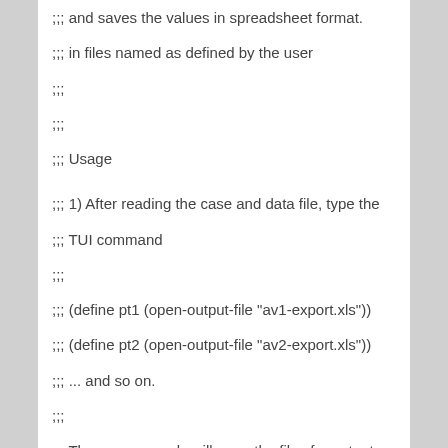;;; and saves the values in spreadsheet format.
;;; in files named as defined by the user
;;;
;;;
;;; Usage
;;; 1) After reading the case and data file, type the
;;; TUI command
;;;
;;; (define pt1 (open-output-file "av1-export.xls"))
;;; (define pt2 (open-output-file "av2-export.xls"))
;;; ... and so on.
;;;
;;; These commands will open the files for output
;;; under ports pt1, pt2